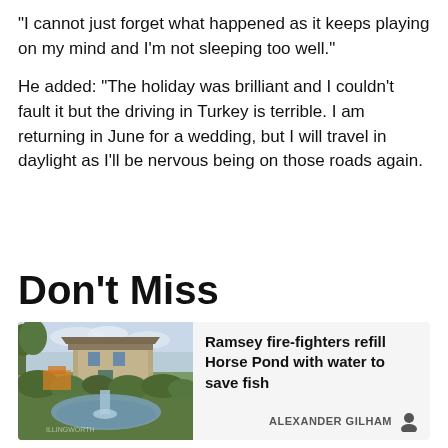"I cannot just forget what happened as it keeps playing on my mind and I'm not sleeping too well."
He added: "The holiday was brilliant and I couldn't fault it but the driving in Turkey is terrible. I am returning in June for a wedding, but I will travel in daylight as I'll be nervous being on those roads again.
Don't Miss
[Figure (photo): A photo of a pond with water being pumped into it, with a stone building and trees in the background.]
Ramsey fire-fighters refill Horse Pond with water to save fish
ALEXANDER GILHAM